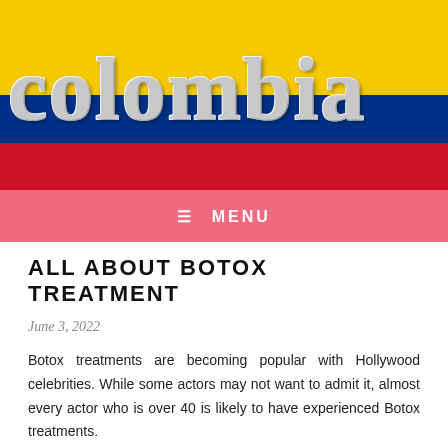[Figure (illustration): Colombia website header banner showing the Colombian flag colors (yellow, blue, red) with the word 'Colombia' in large silver/chrome serif text overlaid on the flag background.]
≡  MENU
ALL ABOUT BOTOX TREATMENT
June 3, 2022
Botox treatments are becoming popular with Hollywood celebrities. While some actors may not want to admit it, almost every actor who is over 40 is likely to have experienced Botox treatments.